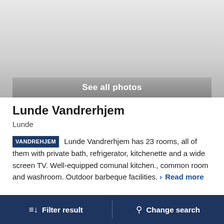[Figure (photo): Photo area for Lunde Vandrerhjem property images, grayed out]
See all photos
Lunde Vandrerhjem
Lunde
VANDREHJEM Lunde Vandrerhjem has 23 rooms, all of them with private bath, refrigerator, kitchenette and a wide screen TV. Well-equipped comunal kitchen., common room and washroom. Outdoor barbeque facilities. > Read more
Filter result   Change search